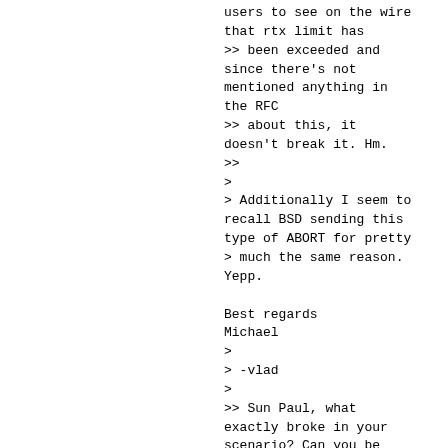users to see on the wire
that rtx limit has
>> been exceeded and
since there's not
mentioned anything in
the RFC
>> about this, it
doesn't break it. Hm.
>>
>
> Additionally I seem to
recall BSD sending this
type of ABORT for pretty
> much the same reason.
Yepp.

Best regards
Michael
>
> -vlad
>
>> Sun Paul, what
exactly broke in your
scenario? Can you be
more explicit?
>>
>> Thanks,
>> Daniel
>
>